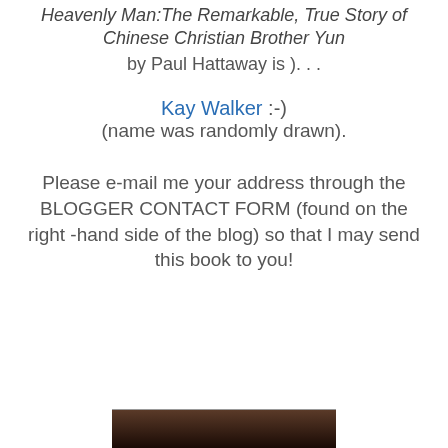Heavenly Man:The Remarkable, True Story of Chinese Christian Brother Yun by Paul Hattaway is ). . .
Kay Walker :-)
(name was randomly drawn).
Please e-mail me your address through the BLOGGER CONTACT FORM (found on the right -hand side of the blog) so that I may send this book to you!
[Figure (photo): Partial photo visible at bottom of page, dark brown tones]